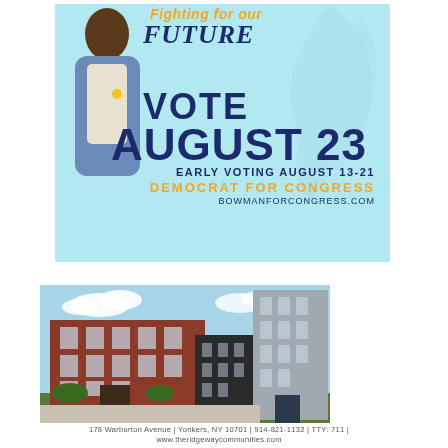[Figure (photo): Campaign advertisement for Jamaal Bowman showing a man in a blue suit, with text 'Fighting for our Future, VOTE AUGUST 23, EARLY VOTING AUGUST 13-21, DEMOCRAT FOR CONGRESS, BOWMANFORCONGRESS.COM' on a light blue background]
[Figure (photo): Architectural rendering of apartment buildings at 178 Warburton Avenue, Yonkers NY - The Ridgeway Communities]
178 Warburton Avenue | Yonkers, NY 10701 | 914-821-1132 | TTY: 711 | www.theridgewaycommunities.com